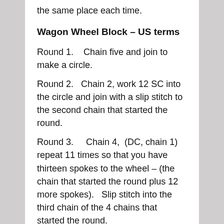the same place each time.
Wagon Wheel Block – US terms
Round 1.    Chain five and join to make a circle.
Round 2.    Chain 2, work 12 SC into the circle and join with a slip stitch to the second chain that started the round.
Round 3.     Chain 4,  (DC, chain 1) repeat 11 times so that you have thirteen spokes to the wheel – (the chain that started the round plus 12 more spokes).   Slip stitch into the third chain of the 4 chains that started the round.